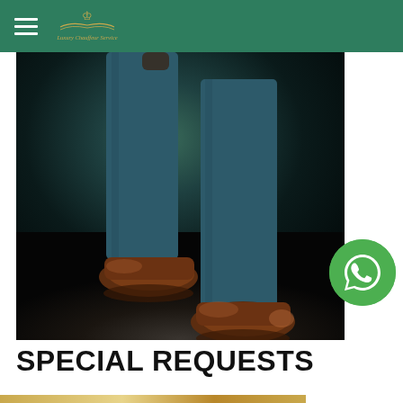Luxury Chauffeur Service
[Figure (photo): Close-up photo of a person's legs wearing dark teal/blue trousers and brown leather dress shoes standing on a dark floor]
[Figure (logo): WhatsApp button icon - green circle with white phone/chat icon]
SPECIAL REQUESTS